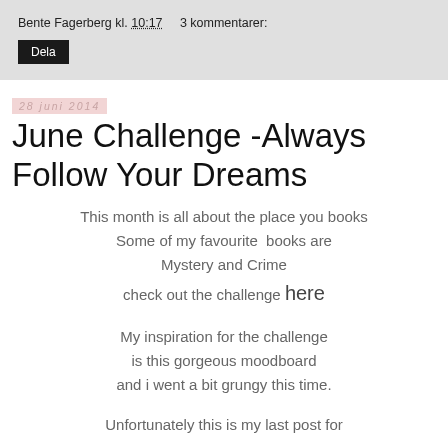Bente Fagerberg kl. 10:17    3 kommentarer:
Dela
28 juni 2014
June Challenge -Always Follow Your Dreams
This month is all about the place you books
Some of my favourite  books are
Mystery and Crime
check out the challenge here
My inspiration for the challenge
is this gorgeous moodboard
and i went a bit grungy this time.
Unfortunately this is my last post for